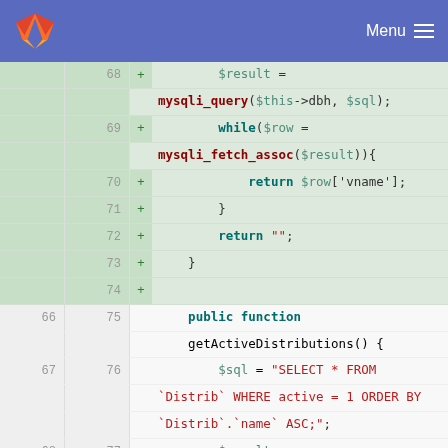GitLab header with logo and Menu
[Figure (screenshot): Code diff view showing PHP code with added lines (green background) for a database query function and unchanged/deleted lines at the bottom. Line numbers shown on left.]